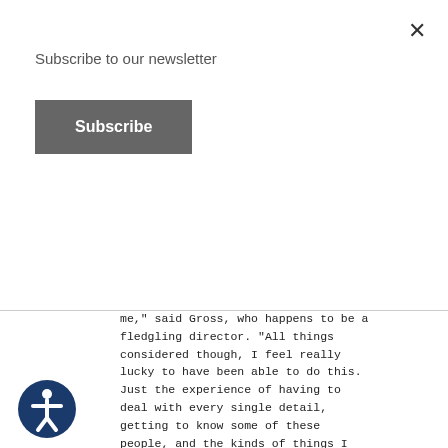Subscribe to our newsletter
Subscribe
me," said Gross, who happens to be a fledgling director. "All things considered though, I feel really lucky to have been able to do this. Just the experience of having to deal with every single detail, getting to know some of these people, and the kinds of things I have learned has been incredibly rewarding."
************************************* **************************** THE MSE SYMPOSIUM - 1995 SCHEDULE     "Framing Society: A Century of Cinema," is a series of lectures by film producers, directors, critics